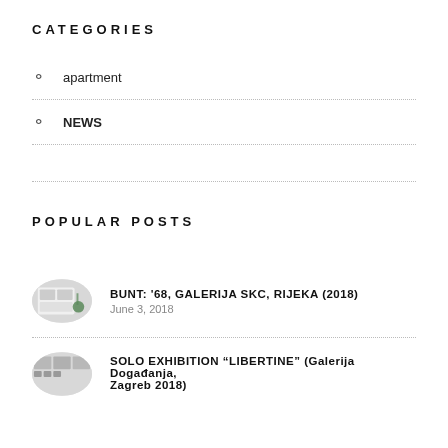CATEGORIES
apartment
NEWS
POPULAR POSTS
BUNT: '68, GALERIJA SKC, RIJEKA (2018) — June 3, 2018
SOLO EXHIBITION “LIBERTINE” (Galerija Događanja, Zagreb 2018)